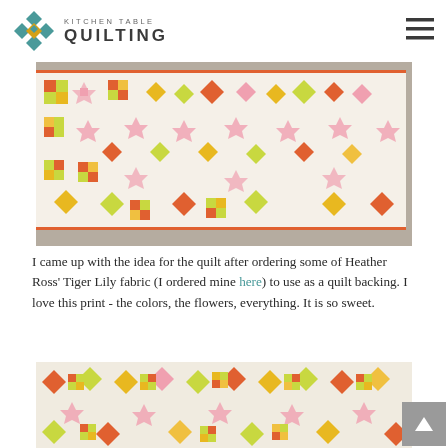Kitchen Table Quilting
[Figure (photo): A colorful patchwork quilt with star and diamond patterns in green, orange, yellow, and pink on a white background, displayed hanging on a wall]
I came up with the idea for the quilt after ordering some of Heather Ross' Tiger Lily fabric (I ordered mine here) to use as a quilt backing.  I love this print - the colors, the flowers, everything.  It is so sweet.
[Figure (photo): Close-up of the patchwork quilt showing star blocks and nine-patch blocks in green, orange, yellow, and pink fabrics on a cream background]